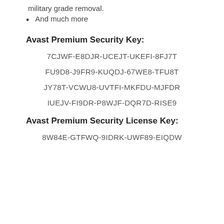military grade removal.
And much more
Avast Premium Security Key:
7CJWF-E8DJR-UCEJT-UKEFI-8FJ7T
FU9D8-J9FR9-KUQDJ-67WE8-TFU8T
JY78T-VCWU8-UVTFI-MKFDU-MJFDR
IUEJV-FI9DR-P8WJF-DQR7D-RISE9
Avast Premium Security License Key:
8W84E-GTFWQ-9IDRK-UWF89-EIQDW